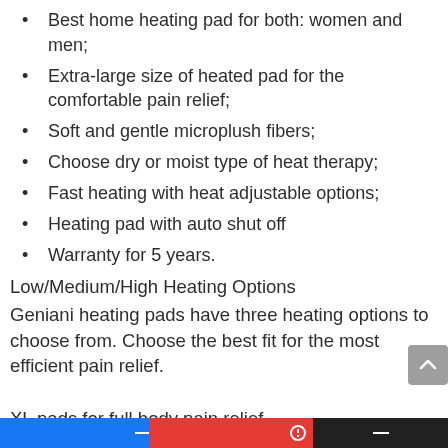Best home heating pad for both: women and men;
Extra-large size of heated pad for the comfortable pain relief;
Soft and gentle microplush fibers;
Choose dry or moist type of heat therapy;
Fast heating with heat adjustable options;
Heating pad with auto shut off
Warranty for 5 years.
Low/Medium/High Heating Options
Geniani heating pads have three heating options to choose from. Choose the best fit for the most efficient pain relief.
XL pads for full body pain relief
Extra Large Geniani heating pads make shoulder and back pain treatment a real blast. 12" x 24" heating pads will help